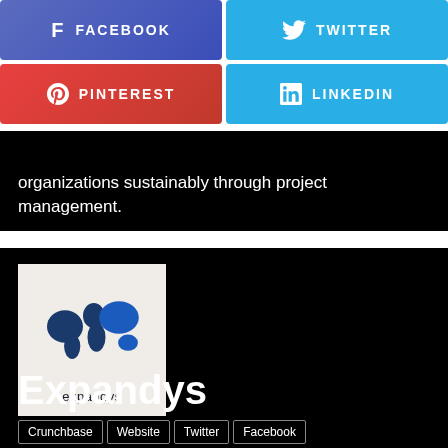[Figure (infographic): Facebook social share button - blue/purple gradient with Facebook f icon and text FACEBOOK]
[Figure (infographic): Twitter social share button - blue with Twitter bird icon and text TWITTER]
[Figure (infographic): Pinterest social share button - red gradient with Pinterest P icon and text PINTEREST]
[Figure (infographic): LinkedIn social share button - blue with LinkedIn 'in' icon and text LINKEDIN]
organizations sustainably through project management.
[Figure (logo): Expandys logo: world map globe in dark blue on light beige background with 'expandys' text below]
Expandys
Crunchbase
Website
Twitter
Facebook